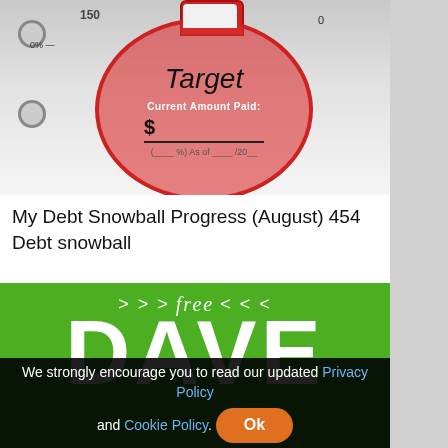[Figure (photo): Photo of a debt snowball progress tracker binder page with a red ornament-shaped pocket labeled 'Target' and 'Current Amount Paid: $' with a fill-in line and a percentage/date field.]
My Debt Snowball Progress (August) 454 Debt snowball
[Figure (photo): Green banner image with white text showing '>>> free <<<' and large bold text 'DAVE']
We strongly encourage you to read our updated Privacy Policy and Cookie Policy. Ok